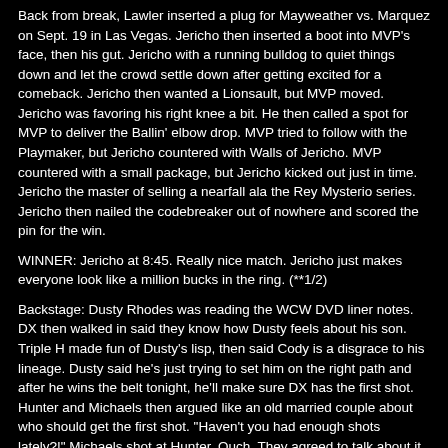Back from break, Lawler inserted a plug for Mayweather vs. Marquez on Sept. 19 in Las Vegas. Jericho then inserted a boot into MVP's face, then his gut. Jericho with a running bulldog to quiet things down and let the crowd settle down after getting excited for a comeback. Jericho then wanted a Lionsault, but MVP moved. Jericho was favoring his right knee a bit. He then called a spot for MVP to deliver the Ballin' elbow drop. MVP tried to follow with the Playmaker, but Jericho countered with Walls of Jericho. MVP countered with a small package, but Jericho kicked out just in time. Jericho the master of selling a nearfall ala the Rey Mysterio series. Jericho then nailed the codebreaker out of nowhere and scored the pin for the win.
WINNER: Jericho at 8:45. Really nice match. Jericho just makes everyone look like a million bucks in the ring. (**1/2)
Backstage: Dusty Rhodes was reading the WCW DVD liner notes. DX then walked in said they know how Dusty feels about his son. Triple H made fun of Dusty's lisp, then said Cody is a disgrace to his lineage. Dusty said he's just trying to set him on the right path and after he wins the belt tonight, he'll make sure DX has the first shot. Hunter and Michaels then argued like an old married couple about who should get the first shot. "Haven't you had enough shots lately?!" Michaels shot at Hunter. Ouch. They agreed to talk about it at home. DX figured out creative has nothing for them, then Michaels pulled out the WCW DVD for a shameless plug with ear-to-ear shameless grin for the camera. Dusty followed suit selling his DVD from a few years ago. Hunter tongue-in-cheek said they shouldn't pressure consumers to make a purchase, but should let the consumer decide on their own...to buy the new and improved DX DVD. All three held goofy smiles for the camera for a Five Second Pose. Michaels then broke the